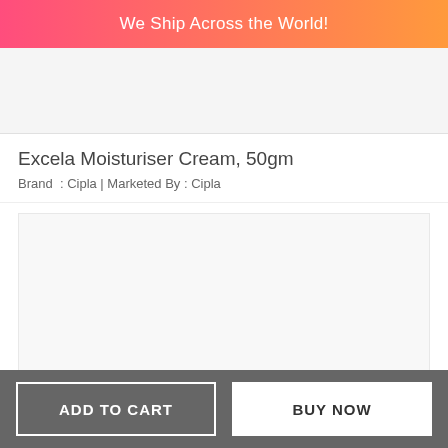We Ship Across the World!
[Figure (other): Top advertisement banner area, light gray background]
Excela Moisturiser Cream, 50gm
Brand  : Cipla | Marketed By : Cipla
[Figure (photo): Product image area, light gray placeholder]
ADD TO CART
BUY NOW